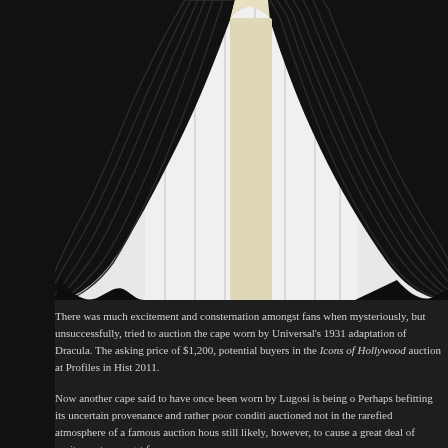[Figure (photo): Close-up photograph of a black vampire cape (Dracula costume) spread open, showing pleated/draped black fabric and a light-colored lining or shirt visible in the center, against a white background.]
There was much excitement and consternation amongst fans when mysteriously, but unsuccessfully, tried to auction the cape worn by Universal's 1931 adaptation of Dracula. The asking price of $1,200, potential buyers in the Icons of Hollywood auction at Profiles in Hist 2011.
Now another cape said to have once been worn by Lugosi is being o Perhaps befitting its uncertain provenance and rather poor conditi auctioned not in the rarefied atmosphere of a famous auction hous still likely, however, to cause a great deal of excitement amongst fa